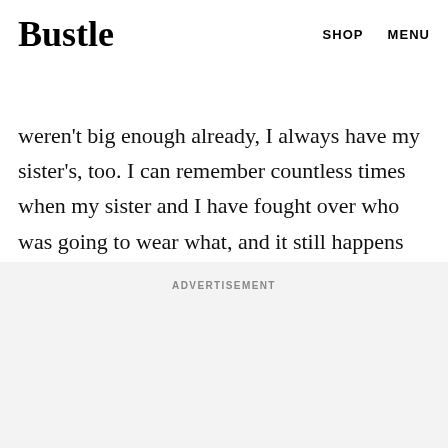Bustle   SHOP   MENU
One of many philosophies I like to live by is that one can never have too many clothes. And as if my closet weren't big enough already, I always have my sister's, too. I can remember countless times when my sister and I have fought over who was going to wear what, and it still happens today. We always seem to want to wear the same thing, so I guess great minds think alike.
ADVERTISEMENT